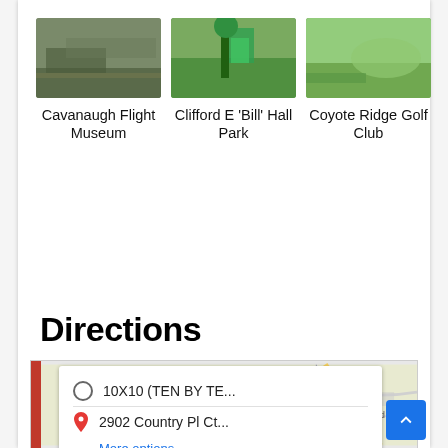[Figure (photo): Photo of Cavanaugh Flight Museum]
[Figure (photo): Photo of Clifford E 'Bill' Hall Park playground]
[Figure (photo): Photo of Coyote Ridge Golf Club]
Cavanaugh Flight Museum
Clifford E 'Bill' Hall Park
Coyote Ridge Golf Club
Directions
[Figure (map): Map showing directions with popup: 10X10 (TEN BY TE... as origin and 2902 Country Pl Ct... as destination, with More options link]